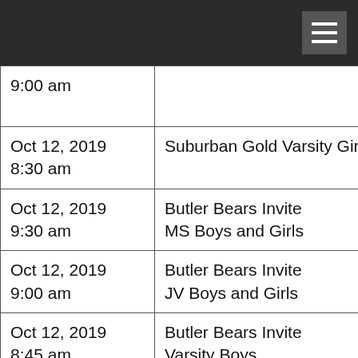| Date/Time | Event |
| --- | --- |
| 9:00 am |  |
| Oct 12, 2019
8:30 am | Suburban Gold Varsity Girls |
| Oct 12, 2019
9:30 am | Butler Bears Invite MS Boys and Girls |
| Oct 12, 2019
9:00 am | Butler Bears Invite JV Boys and Girls |
| Oct 12, 2019
8:45 am | Butler Bears Invite Varsity Boys |
| Oct 12, 2019
8:30 am | Butler Bear Invite Varsity Girls |